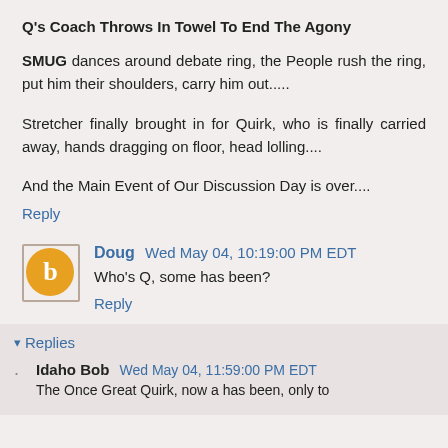Q's Coach Throws In Towel To End The Agony
SMUG dances around debate ring, the People rush the ring, put him their shoulders, carry him out.....
Stretcher finally brought in for Quirk, who is finally carried away, hands dragging on floor, head lolling....
And the Main Event of Our Discussion Day is over....
Reply
Doug  Wed May 04, 10:19:00 PM EDT
Who's Q, some has been?
Reply
Replies
Idaho Bob  Wed May 04, 11:59:00 PM EDT
The Once Great Quirk, now a has been, only to